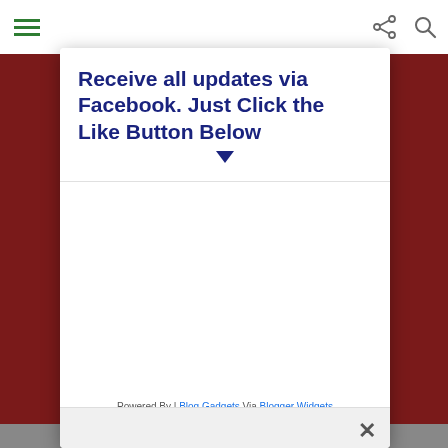[Figure (screenshot): Website toolbar with hamburger menu icon (green lines), share icon, and search icon on white background]
Receive all updates via Facebook. Just Click the Like Button Below
Powered By | Blog Gadgets Via Blogger Widgets